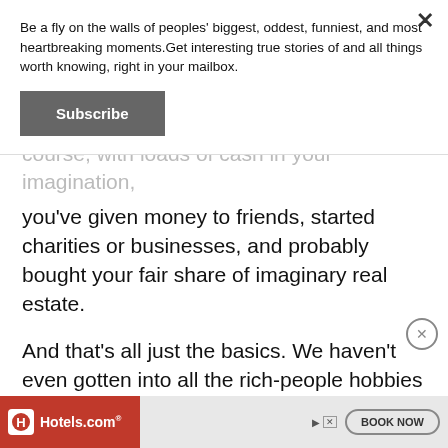Be a fly on the walls of peoples' biggest, oddest, funniest, and most heartbreaking moments.Get interesting true stories of and all things worth knowing, right in your mailbox.
Subscribe
course, with loads of cash in your imagination, you've given money to friends, started charities or businesses, and probably bought your fair share of imaginary real estate.
And that's all just the basics. We haven't even gotten into all the rich-people hobbies you could take up like SCUBA golfing, sailboat customization, or learning how to melt down antique jewelry to make gem-encrusted bongs for yo...
[Figure (infographic): Hotels.com advertisement banner at the bottom of the page with red background, Hotels.com logo, BOOK NOW button, and ad close icons.]